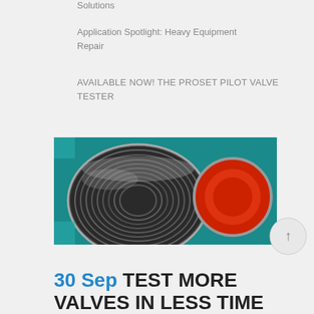Solutions
Application Spotlight: Heavy Equipment Repair
AVAILABLE NOW! THE PROSET PILOT VALVE TESTER
[Figure (photo): Close-up photograph of a metallic cylindrical valve or disc stack component with concentric grooves, placed on a teal/green surface, with a red component visible in the background on the right.]
30 Sep TEST MORE VALVES IN LESS TIME